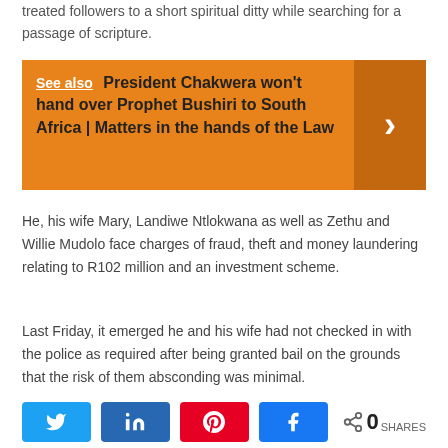treated followers to a short spiritual ditty while searching for a passage of scripture.
See also  President Chakwera won't hand over Prophet Bushiri to South Africa | Matters in the hands of the Law
He, his wife Mary, Landiwe Ntlokwana as well as Zethu and Willie Mudolo face charges of fraud, theft and money laundering relating to R102 million and an investment scheme.
Last Friday, it emerged he and his wife had not checked in with the police as required after being granted bail on the grounds that the risk of them absconding was minimal.
[Figure (infographic): Social share bar with Twitter, LinkedIn, Pinterest, Facebook buttons and a share count showing 0 SHARES]